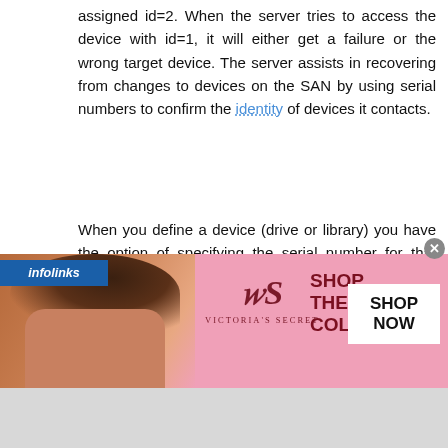assigned id=2. When the server tries to access the device with id=1, it will either get a failure or the wrong target device. The server assists in recovering from changes to devices on the SAN by using serial numbers to confirm the identity of devices it contacts.
When you define a device (drive or library) you have the option of specifying the serial number for that device. If you do not specify the serial number when you define the device, the server obtains the serial number when you define the path for the device. In either case, the server then has the serial number in its database. From then on, the server uses the serial number to confirm the identity of a device for operations.
the server uses drives and libraries on a SAN, the
[Figure (screenshot): Victoria's Secret advertisement banner with pink background, model photo, VS logo, 'SHOP THE COLLECTION' text, and 'SHOP NOW' button. Infolinks badge at top left.]